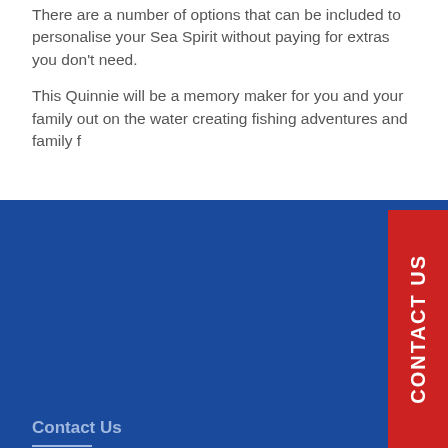There are a number of options that can be included to personalise your Sea Spirit without paying for extras you don't need.
This Quinnie will be a memory maker for you and your family out on the water creating fishing adventures and family f…
Contact Us
174 Eastern Service Road Burpengary QLD (Corner of Brewer St and Eastern Service Rd, entrance via Eastern Service Road)
07 3888 1727
Trading Hours